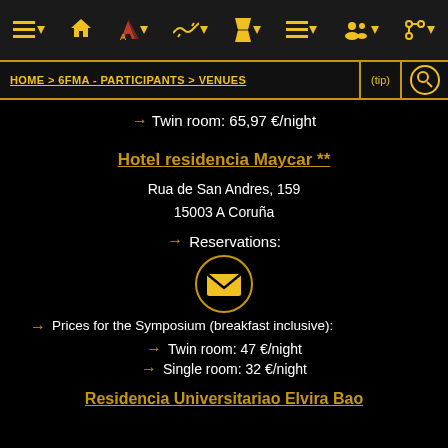Navigation bar with icons
HOME > 6FMA - PARTICIPANTS > VENUES | (tip) | search
→ Twin room: 65,97 €/night
Hotel residencia Maycar **
Rua de San Andres, 159
15003 A Coruña
→ Reservations:
[Figure (illustration): Email icon inside a circle, gold/yellow envelope on dark background]
→ Prices for the Symposium (breakfast inclusive):
→ Twin room: 47 €/night
→ Single room: 32 €/night
Residencia Universitariao Elvira Bao